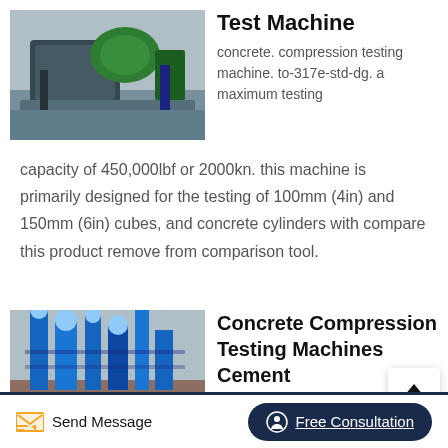[Figure (photo): Industrial concrete compression testing machine in a factory setting, black and green machinery]
Test Machine
concrete. compression testing machine. to-317e-std-dg. a maximum testing capacity of 450,000lbf or 2000kn. this machine is primarily designed for the testing of 100mm (4in) and 150mm (6in) cubes, and concrete cylinders with compare this product remove from comparison tool.
[Figure (photo): Industrial cement/chemical plant with tall silos and blue steel structures against a clear sky]
Concrete Compression Testing Machines Cement
cm-2500 series250,000 lbs. (1,112 kn) capacity. the cm-
Send Message
Free Consultation